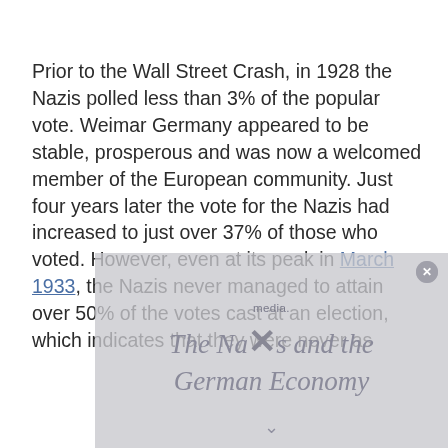Prior to the Wall Street Crash, in 1928 the Nazis polled less than 3% of the popular vote. Weimar Germany appeared to be stable, prosperous and was now a welcomed member of the European community. Just four years later the vote for the Nazis had increased to just over 37% of those who voted. However, even at its peak in March 1933, the Nazis never managed to attain over 50% of the votes cast at an election, which indicates that they were never as
[Figure (other): A semi-transparent overlay/popup partially covering the bottom of the page, with a close button (X), small text reading 'media.' and an italic title 'The Nazis and the German Economy', with a dismiss arrow at the bottom.]